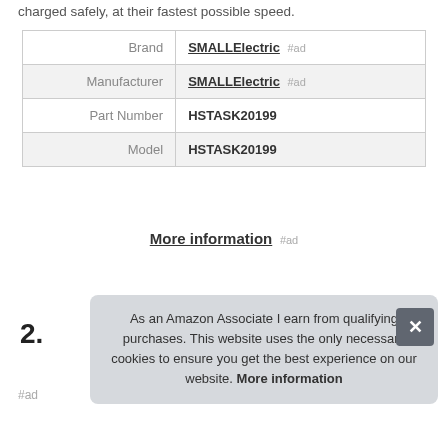charged safely, at their fastest possible speed.
| Brand | SMALLElectric #ad |
| Manufacturer | SMALLElectric #ad |
| Part Number | HSTASK20199 |
| Model | HSTASK20199 |
More information #ad
2.
As an Amazon Associate I earn from qualifying purchases. This website uses the only necessary cookies to ensure you get the best experience on our website. More information
#ad